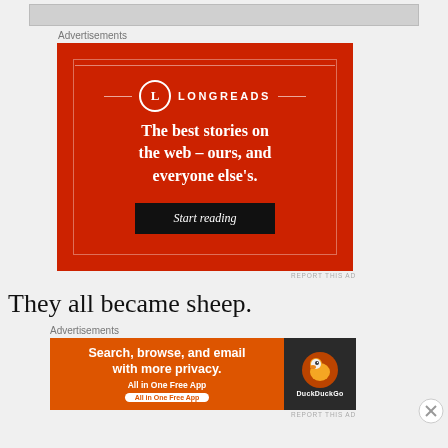[Figure (screenshot): Top image strip placeholder]
Advertisements
[Figure (infographic): Longreads advertisement: red background with logo, tagline 'The best stories on the web – ours, and everyone else's.' and a 'Start reading' button]
REPORT THIS AD
They all became sheep.
Advertisements
[Figure (infographic): DuckDuckGo advertisement: 'Search, browse, and email with more privacy. All in One Free App' with DuckDuckGo logo on dark right panel]
REPORT THIS AD